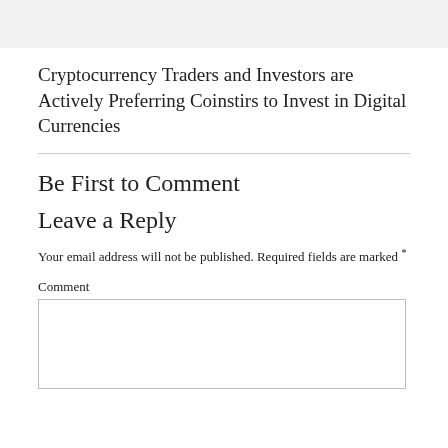Cryptocurrency Traders and Investors are Actively Preferring Coinstirs to Invest in Digital Currencies
Be First to Comment
Leave a Reply
Your email address will not be published. Required fields are marked *
Comment